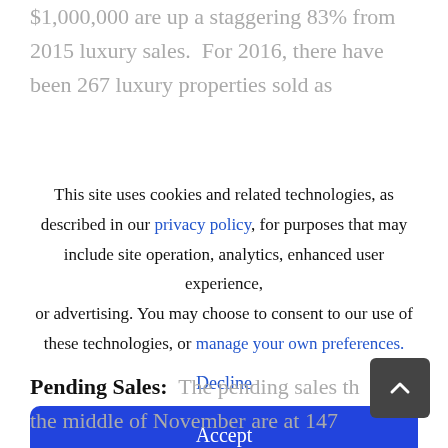$1,000,000 are up a staggering 83% from 2015 luxury sales. For 2016, there have been 267 luxury properties sold as
This site uses cookies and related technologies, as described in our privacy policy, for purposes that may include site operation, analytics, enhanced user experience, or advertising. You may choose to consent to our use of these technologies, or manage your own preferences.
Decline
Accept
Pending Sales: The pending sales th the middle of November are at 147 residential sales in the market, which is